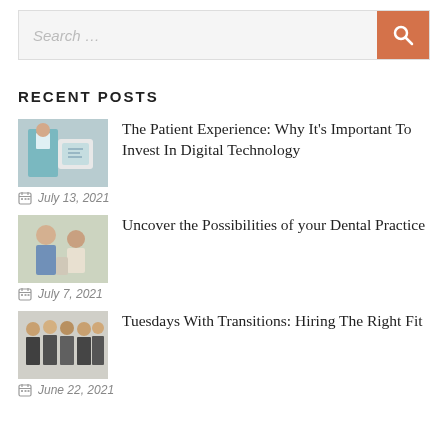Search …
RECENT POSTS
[Figure (photo): Medical staff using digital tablet in clinical setting]
The Patient Experience: Why It's Important To Invest In Digital Technology
July 13, 2021
[Figure (photo): Dental professional consulting with patient]
Uncover the Possibilities of your Dental Practice
July 7, 2021
[Figure (photo): Group of professionals in business attire standing together]
Tuesdays With Transitions: Hiring The Right Fit
June 22, 2021